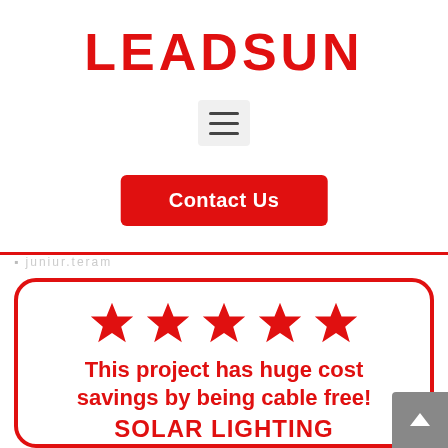LEADSUN
[Figure (infographic): Hamburger/menu icon button with three horizontal lines on a light grey background]
[Figure (infographic): Red rounded rectangle button labeled Contact Us]
[Figure (infographic): Five red stars rating badge with text: This project has huge cost savings by being cable free! SOLAR LIGHTING, with red arrow icons at the bottom (partially cut off)]